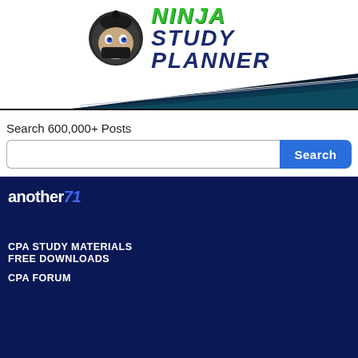[Figure (logo): Ninja Study Planner logo: cartoon ninja character on left, stylized text 'NINJA STUDY PLANNER' in green and navy blue on right, with dark sword/banner graphic below]
Search 600,000+ Posts
Search button with input field
[Figure (logo): another71 logo in white text with blue italic '71']
CPA STUDY MATERIALS
FREE DOWNLOADS
CPA FORUM